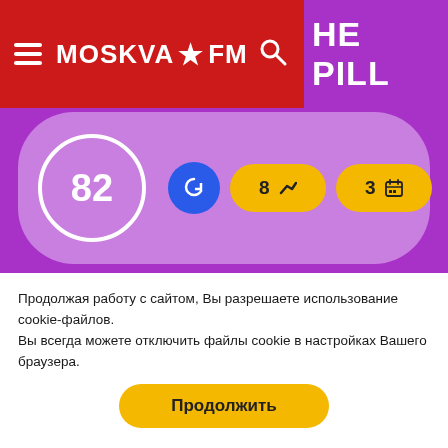MOSKVA FM | HE PILL
[Figure (screenshot): Partial music chart card showing rank 82 with blue refresh button, yellow badge '8' with trend arrow, yellow badge '3' with calendar icon]
[Figure (screenshot): Music chart card showing rank 83, song 'OH CHERIE' by New Young Pony Club, with blue refresh button, yellow badge '72' with trend arrow, yellow badge '3' with calendar icon]
Продолжая работу с сайтом, Вы разрешаете использование cookie-файлов.
Вы всегда можете отключить файлы cookie в настройках Вашего браузера.
Продолжить